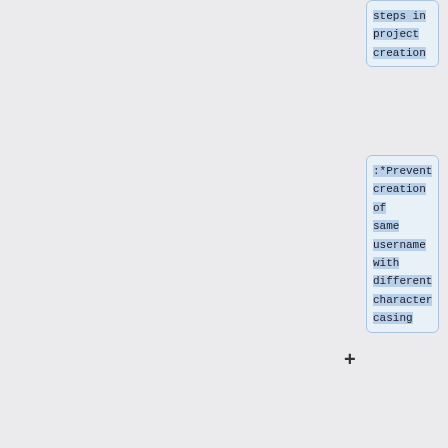steps in project creation
:*Prevent creation of same username with different character casing
:*Prevent empty lines being counted as a full records
:*Fixed display of report page